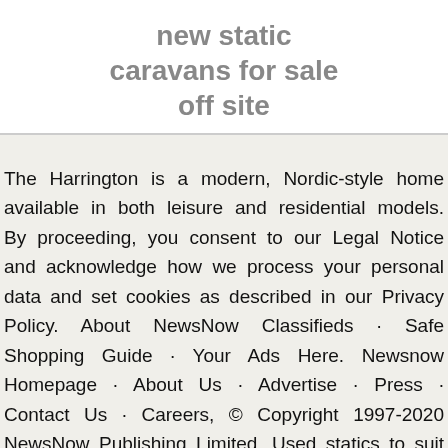new static caravans for sale off site
The Harrington is a modern, Nordic-style home available in both leisure and residential models. By proceeding, you consent to our Legal Notice and acknowledge how we process your personal data and set cookies as described in our Privacy Policy. About NewsNow Classifieds · Safe Shopping Guide · Your Ads Here. Newsnow Homepage · About Us · Advertise · Press · Contact Us · Careers, © Copyright 1997-2020 NewsNow Publishing Limited. Used statics to suit all budgets. Landgate, Rye. Just added to your cart. Collection in person. Please click any option to view our current selection of static caravans for sale. This is a closed storage yard, and operates on an appointment only basis. Our unique algorithm classifies jobs according to a wide variety of factors, estimates the market rate for this specification of job and displays the estimated rate of pay when officially being available the locally designated according.